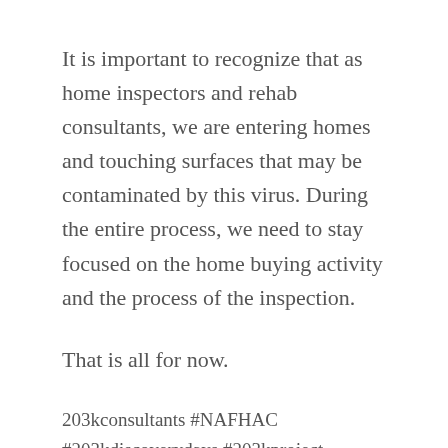It is important to recognize that as home inspectors and rehab consultants, we are entering homes and touching surfaces that may be contaminated by this virus. During the entire process, we need to stay focused on the home buying activity and the process of the inspection.
That is all for now.
203kconsultants #NAFHAC #203kdiscoverydays #203kproject #203klender #203krehab #203kloan